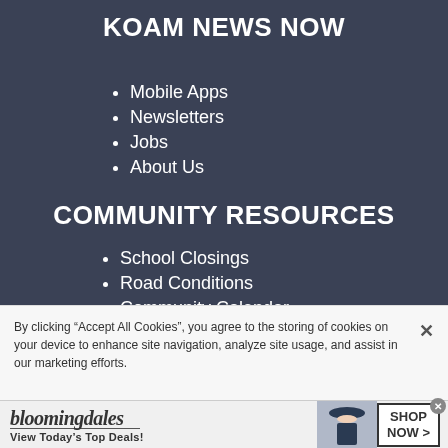KOAM NEWS NOW
Mobile Apps
Newsletters
Jobs
About Us
COMMUNITY RESOURCES
School Closings
Road Conditions
Community Calendar
By clicking “Accept All Cookies”, you agree to the storing of cookies on your device to enhance site navigation, analyze site usage, and assist in our marketing efforts.
[Figure (illustration): Bloomingdale's advertisement banner with woman in hat, tagline 'View Today's Top Deals!' and 'SHOP NOW >' button]